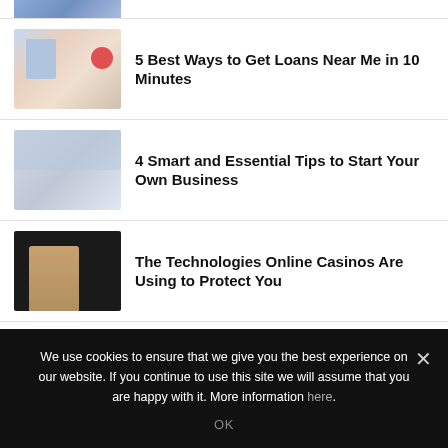[Figure (photo): Partial top image - blue gradient thumbnail cropped at top]
[Figure (photo): Thumbnail image of financial documents, charts, pens and markers]
5 Best Ways to Get Loans Near Me in 10 Minutes
[Figure (photo): Thumbnail image of business people meeting in an office with large windows]
4 Smart and Essential Tips to Start Your Own Business
[Figure (photo): Thumbnail image of a woman at a casino table with chips]
The Technologies Online Casinos Are Using to Protect You
Recent Posts
We use cookies to ensure that we give you the best experience on our website. If you continue to use this site we will assume that you are happy with it. More information here.
OK